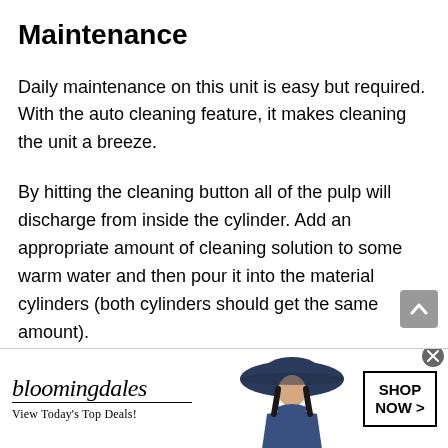Maintenance
Daily maintenance on this unit is easy but required. With the auto cleaning feature, it makes cleaning the unit a breeze.
By hitting the cleaning button all of the pulp will discharge from inside the cylinder. Add an appropriate amount of cleaning solution to some warm water and then pour it into the material cylinders (both cylinders should get the same amount).
[Figure (other): Bloomingdale's advertisement banner with logo, tagline 'View Today's Top Deals!', a woman in a large blue hat, and a 'SHOP NOW >' button]